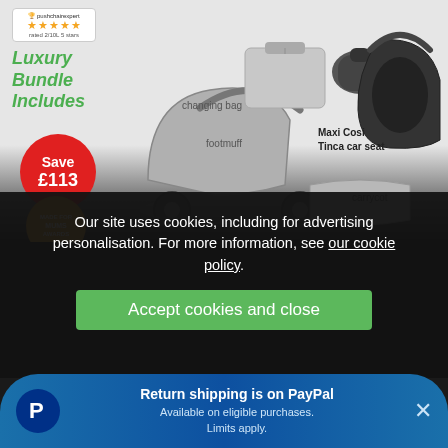[Figure (photo): Product photo showing a luxury baby pushchair bundle. Items labeled: changing bag, footmuff, Maxi Cosi Tinca car seat, carrycot. Badge shows 5-star rating from pushchairexpert. Red circle badge says Save £113. Gold circle badge says Made for Mums Awards. Green italic text reads Luxury Bundle Includes.]
Our site uses cookies, including for advertising personalisation. For more information, see our cookie policy.
Accept cookies and close
Return shipping is on PayPal
Available on eligible purchases. Limits apply.